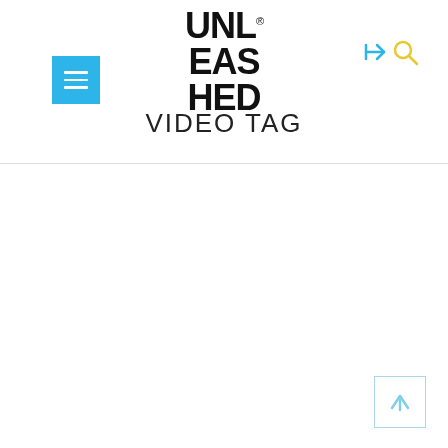[Figure (logo): Hamburger menu button - blue square with three white horizontal bars]
[Figure (logo): UNLEASHED logo in bold black stacked text with registered trademark symbol]
[Figure (logo): Navigation icons: login arrow and search magnifier in blue/yellow]
VIDEO TAG
[Figure (logo): Scroll-to-top button: light blue bordered square with upward arrow]